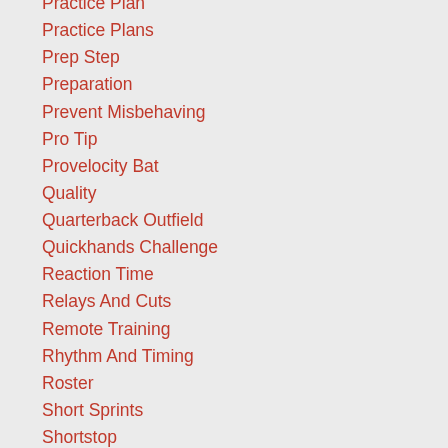Practice Plan
Practice Plans
Prep Step
Preparation
Prevent Misbehaving
Pro Tip
Provelocity Bat
Quality
Quarterback Outfield
Quickhands Challenge
Reaction Time
Relays And Cuts
Remote Training
Rhythm And Timing
Roster
Short Sprints
Shortstop
Situational Play